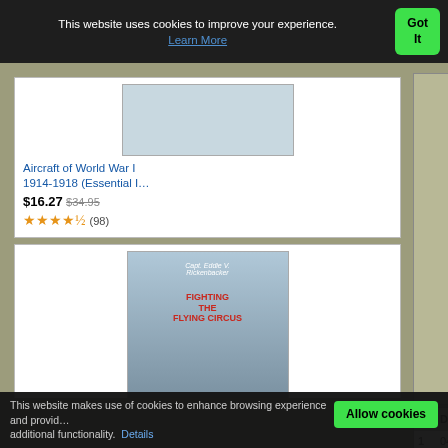This website uses cookies to improve your experience. Learn More  Got It
[Figure (photo): Book cover thumbnail for Aircraft of World War I 1914-1918]
Aircraft of World War I 1914-1918 (Essential I…
$16.27  $34.95
★★★★½ (98)
[Figure (photo): Book cover for Fighting the Flying Circus showing WWI biplanes]
Fighting the Flying Circus: The Greatest True Air A…
[Figure (other): Advertisement area (tan/khaki background)]
|  | Date | Time | Unit | Airc… |
| --- | --- | --- | --- | --- |
| 1 | 04 Jun 1918 |  | Schlasta 15 | Halb 1 |
| 2 | 25 Jun 1918 |  | Schlasta 15 | Halb 1 |
| 3 | 05 Jul 1918 |  | Schlasta 15 | Halb 1 |
| 5 | 18 Jul 1918 |  | Schlasta 15 | Halb |
(65)
This website makes use of cookies to enhance browsing experience and provide additional functionality. Details   Allow cookies